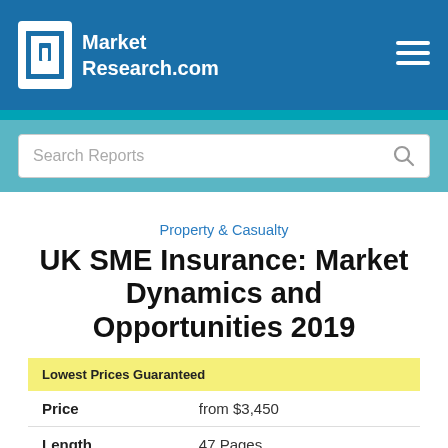MarketResearch.com
Search Reports
Property & Casualty
UK SME Insurance: Market Dynamics and Opportunities 2019
| Lowest Prices Guaranteed |  |
| --- | --- |
| Price | from $3,450 |
| Length | 47 Pages |